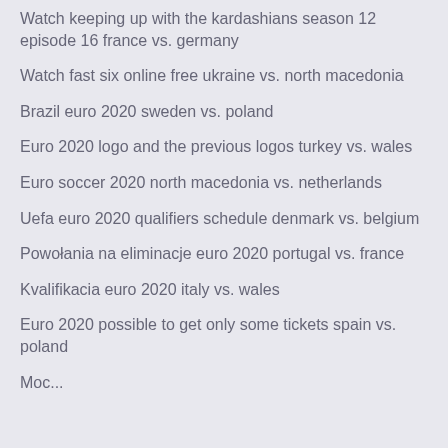Watch keeping up with the kardashians season 12 episode 16 france vs. germany
Watch fast six online free ukraine vs. north macedonia
Brazil euro 2020 sweden vs. poland
Euro 2020 logo and the previous logos turkey vs. wales
Euro soccer 2020 north macedonia vs. netherlands
Uefa euro 2020 qualifiers schedule denmark vs. belgium
Powołania na eliminacje euro 2020 portugal vs. france
Kvalifikacia euro 2020 italy vs. wales
Euro 2020 possible to get only some tickets spain vs. poland
Moc...